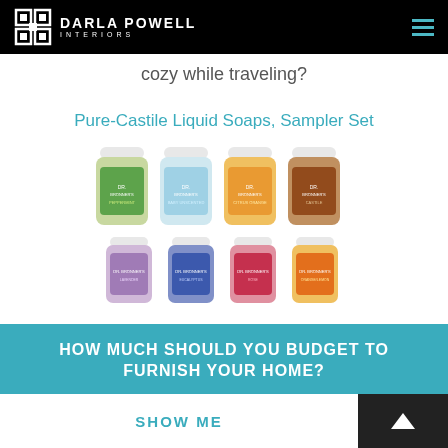DARLA POWELL INTERIORS
cozy while traveling?
Pure-Castile Liquid Soaps, Sampler Set
[Figure (photo): Eight small travel-size bottles of Dr. Bronner's Pure-Castile Liquid Soap in various scents, arranged in two rows of four on a white background.]
HOW MUCH SHOULD YOU BUDGET TO FURNISH YOUR HOME?
SHOW ME